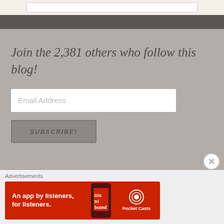Join the 2,381 others who follow this blog!
Email Address
SUBSCRIBE!
Advertisements
[Figure (screenshot): Red Pocket Casts advertisement banner reading 'An app by listeners, for listeners.' with phone image and Pocket Casts logo]